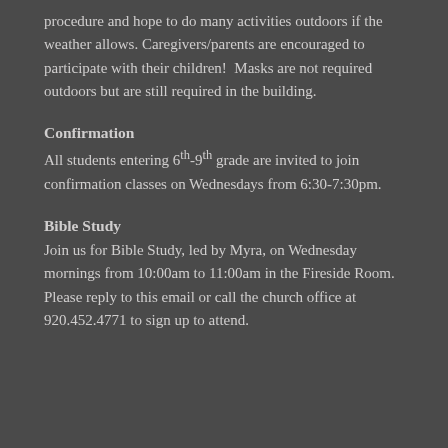procedure and hope to do many activities outdoors if the weather allows. Caregivers/parents are encouraged to participate with their children!  Masks are not required outdoors but are still required in the building.
Confirmation
All students entering 6th-9th grade are invited to join confirmation classes on Wednesdays from 6:30-7:30pm.
Bible Study
Join us for Bible Study, led by Myra, on Wednesday mornings from 10:00am to 11:00am in the Fireside Room.  Please reply to this email or call the church office at 920.452.4771 to sign up to attend.